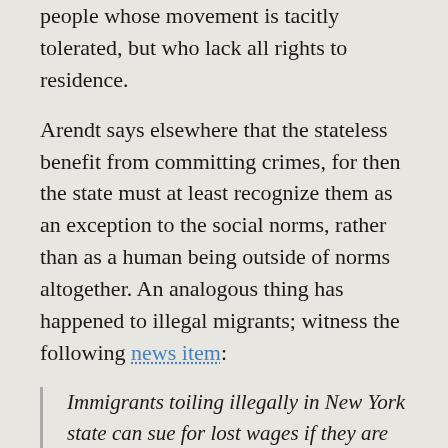people whose movement is tacitly tolerated, but who lack all rights to residence.
Arendt says elsewhere that the stateless benefit from committing crimes, for then the state must at least recognize them as an exception to the social norms, rather than as a human being outside of norms altogether. An analogous thing has happened to illegal migrants; witness the following news item:
Immigrants toiling illegally in New York state can sue for lost wages if they are hurt on the job, the state’s highest court ruled Tuesday...
The Court of Appeals reinstated the state Supreme Court ruling, saying there was nothing in U.S. immigration law that prevented the worker from receiving lost wages since there was no proof he used fraudulent documents to